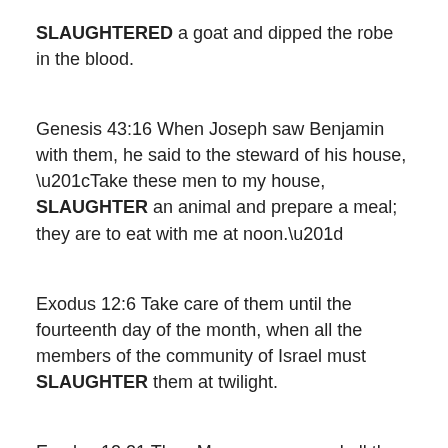SLAUGHTERED a goat and dipped the robe in the blood.
Genesis 43:16 When Joseph saw Benjamin with them, he said to the steward of his house, “Take these men to my house, SLAUGHTER an animal and prepare a meal; they are to eat with me at noon.”
Exodus 12:6 Take care of them until the fourteenth day of the month, when all the members of the community of Israel must SLAUGHTER them at twilight.
Exodus 12:21 Then Moses summoned all the elders of Israel and said to them, “Go at once and select the...